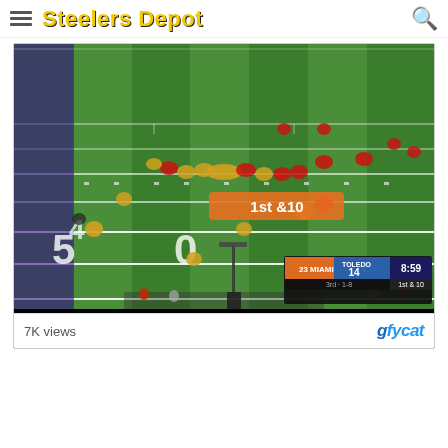Steelers Depot
[Figure (screenshot): Aerial view of a college football game between Miami (OH) and Toledo. Score shows Miami 21, Toledo 14, with 8:59 remaining, 1st & 10, 3rd quarter. On-field graphic shows '1st & 10'. Players in yellow/gold and white uniforms visible on green field with yard markers (40, 50). GFYcat embedded video player.]
7K views
gfycat